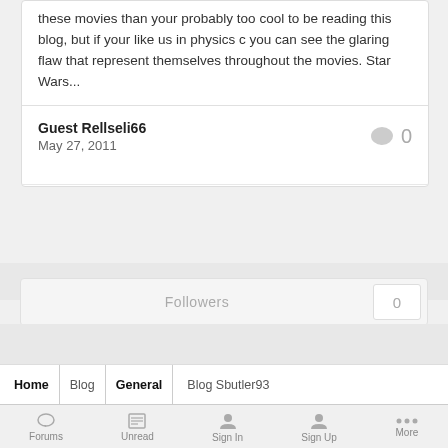these movies than your probably too cool to be reading this blog, but if your like us in physics c you can see the glaring flaw that represent themselves throughout the movies. Star Wars...
Guest Rellseli66
May 27, 2011
Followers 0
Home Blog General Blog Sbutler93
Forums Unread Sign In Sign Up More